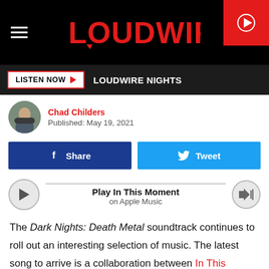[Figure (logo): Loudwire logo on black navigation bar with hamburger menu and red play button]
[Figure (other): Listen Now button with Loudwire Nights text on dark bar]
[Figure (photo): Author photo of Chad Childers in circular avatar]
Chad Childers
Published: May 19, 2021
[Figure (other): Facebook Share and Twitter Tweet buttons]
[Figure (other): Play In This Moment on Apple Music player bar]
The Dark Nights: Death Metal soundtrack continues to roll out an interesting selection of music. The latest song to arrive is a collaboration between In This Moment vocalist Maria Brink and composer Tyler Bates, who also oversaw the production of the soundtrack. And if that wasn't enough,